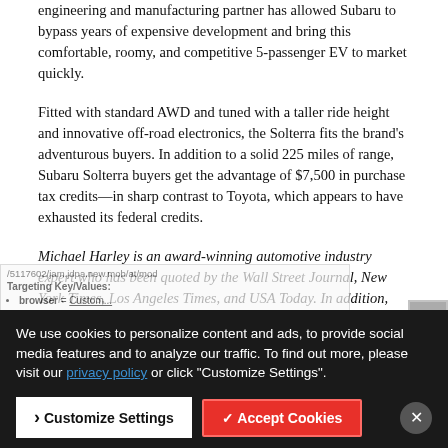engineering and manufacturing partner has allowed Subaru to bypass years of expensive development and bring this comfortable, roomy, and competitive 5-passenger EV to market quickly.
Fitted with standard AWD and tuned with a taller ride height and innovative off-road electronics, the Solterra fits the brand's adventurous buyers. In addition to a solid 225 miles of range, Subaru Solterra buyers get the advantage of $7,500 in purchase tax credits—in sharp contrast to Toyota, which appears to have exhausted its federal credits.
Michael Harley is an award-winning automotive industry expert who has been quoted by the Wall Street Journal, New York Times, Los Angeles Times, and USA Today. In addition, Michael has made appearances on ABC's Good Morning America, CBS, NBC, Fox News, and more...
We use cookies to personalize content and ads, to provide social media features and to analyze our traffic. To find out more, please visit our privacy policy or click "Customize Settings".